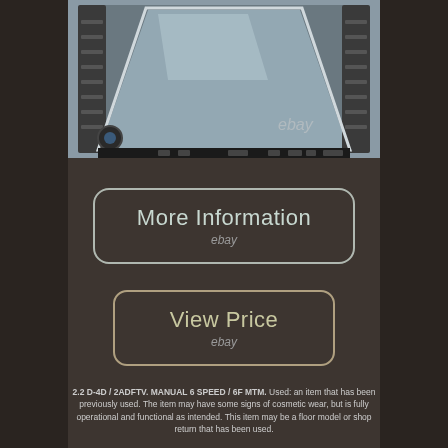[Figure (photo): Overhead view of a vehicle sunroof/moonroof panel with rails and mechanism components, photographed for eBay listing]
[Figure (other): More Information button with eBay watermark — rounded rectangle button with light text on dark background]
[Figure (other): View Price button with eBay watermark — rounded rectangle button with light text on dark background]
2.2 D-4D / 2ADFTV. MANUAL 6 SPEED / 6F MTM. Used: an item that has been previously used. The item may have some signs of cosmetic wear, but is fully operational and functional as intended. This item may be a floor model or shop return that has been used.